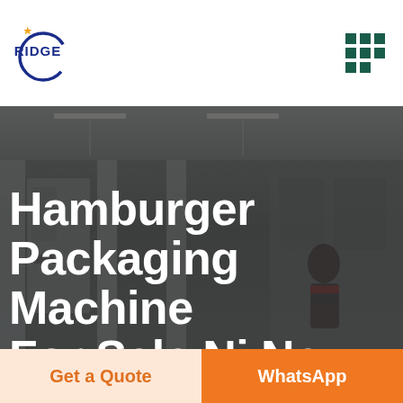RIDGE
Hamburger Packaging Machine For Sale Nj New Jersey
[Figure (photo): Interior of a packaging machinery warehouse or factory floor with industrial equipment and a worker in the background, shown with a dark overlay]
Get a Quote
WhatsApp